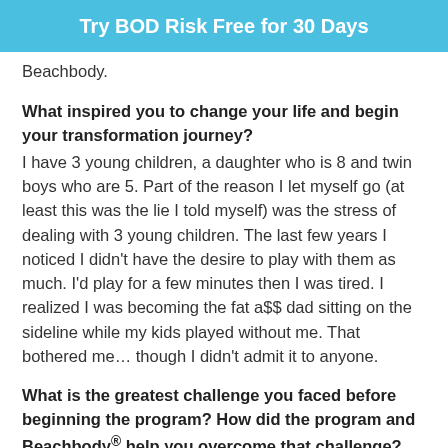Try BOD Risk Free for 30 Days
Beachbody.
What inspired you to change your life and begin your transformation journey?
I have 3 young children, a daughter who is 8 and twin boys who are 5. Part of the reason I let myself go (at least this was the lie I told myself) was the stress of dealing with 3 young children. The last few years I noticed I didn't have the desire to play with them as much. I'd play for a few minutes then I was tired. I realized I was becoming the fat a$$ dad sitting on the sideline while my kids played without me. That bothered me… though I didn't admit it to anyone.
What is the greatest challenge you faced before beginning the program? How did the program and Beachbody® help you overcome that challenge?